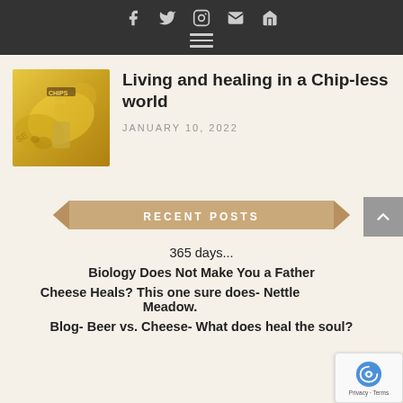Social icons: f, Twitter, Instagram, mail, home; hamburger menu
[Figure (photo): Chips cheese product image with yellow/gold tones]
Living and healing in a Chip-less world
JANUARY 10, 2022
RECENT POSTS
365 days...
Biology Does Not Make You a Father
Cheese Heals? This one sure does- Nettle Meadow.
Blog- Beer vs. Cheese- What does heal the soul?